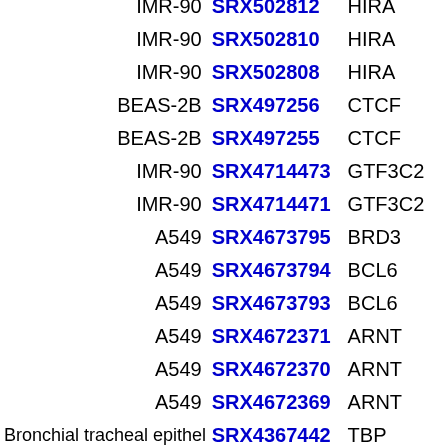| Cell Line | SRX ID | Gene |
| --- | --- | --- |
| IMR-90 | SRX502812 | HIRA |
| IMR-90 | SRX502810 | HIRA |
| IMR-90 | SRX502808 | HIRA |
| BEAS-2B | SRX497256 | CTCF |
| BEAS-2B | SRX497255 | CTCF |
| IMR-90 | SRX4714473 | GTF3C2 |
| IMR-90 | SRX4714471 | GTF3C2 |
| A549 | SRX4673795 | BRD3 |
| A549 | SRX4673794 | BCL6 |
| A549 | SRX4673793 | BCL6 |
| A549 | SRX4672371 | ARNT |
| A549 | SRX4672370 | ARNT |
| A549 | SRX4672369 | ARNT |
| Bronchial tracheal epithelial ce | SRX4367442 | TBP |
| Bronchial tracheal epithelial ce | SRX4367441 | TBP |
| Bronchial tracheal epithelial ce | SRX4367432 | TBP |